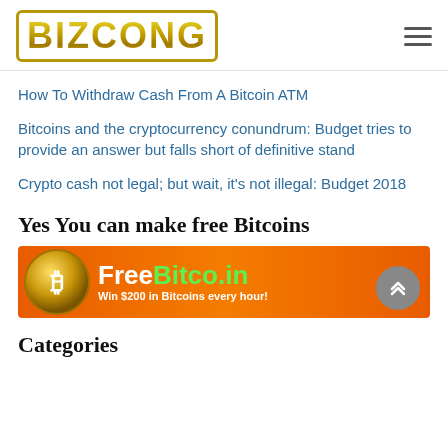BIZCONG
How To Withdraw Cash From A Bitcoin ATM
Bitcoins and the cryptocurrency conundrum: Budget tries to provide an answer but falls short of definitive stand
Crypto cash not legal; but wait, it’s not illegal: Budget 2018
Yes You can make free Bitcoins
[Figure (infographic): FreeBitco.in advertisement banner with orange background, gold Bitcoin coin graphic on left, and text 'FreeBitco.in Win $200 in Bitcoins every hour!']
Categories